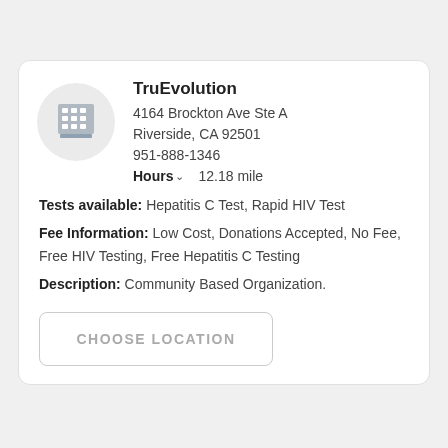TruEvolution
4164 Brockton Ave Ste A
Riverside, CA 92501
951-888-1346
Hours  12.18 mile
Tests available: Hepatitis C Test, Rapid HIV Test
Fee Information: Low Cost, Donations Accepted, No Fee, Free HIV Testing, Free Hepatitis C Testing
Description: Community Based Organization.
CHOOSE LOCATION